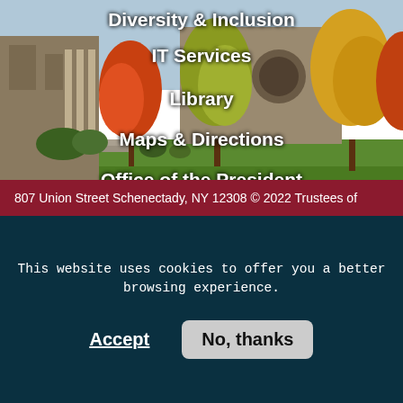[Figure (photo): Campus photo with autumn trees, green lawn, and university buildings visible in the background]
Diversity & Inclusion
IT Services
Library
Maps & Directions
Office of the President
Offices & Services
Strategic Plan
Title IX
807 Union Street Schenectady, NY 12308 © 2022 Trustees of
This website uses cookies to offer you a better browsing experience.
Accept    No, thanks